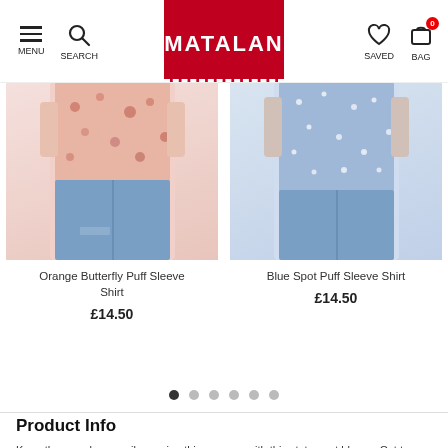MATALAN
[Figure (photo): Orange Butterfly Puff Sleeve Shirt product photo showing a model wearing a floral pink/orange blouse with jeans]
Orange Butterfly Puff Sleeve Shirt
£14.50
[Figure (photo): Blue Spot Puff Sleeve Shirt product photo showing a model wearing a blue dotted shirt with jeans]
Blue Spot Puff Sleeve Shirt
£14.50
Product Info
Keep the easy breezy vibes going this summer with this statement blouse. Cut to a breathable sleeveless design and styled with a timeless grandad collar, it comes with a flattering V-neckline, as well as functional button fastenings for extra practicality. Wear it with shorts or jeans, depending on the temperature! Model Height: 5ft 9